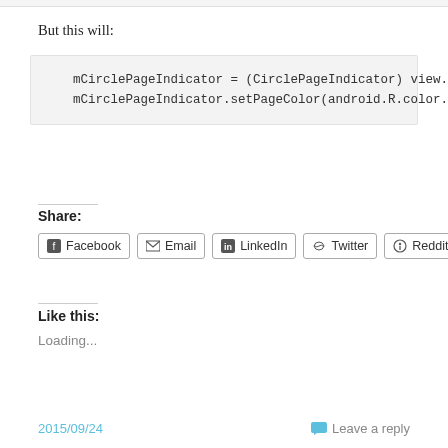But this will:
mCirclePageIndicator = (CirclePageIndicator) view.
mCirclePageIndicator.setPageColor(android.R.color.
Share:
[Figure (other): Social share buttons: Facebook, Email, LinkedIn, Twitter, Reddit]
Like this:
Loading...
2015/09/24   Leave a reply